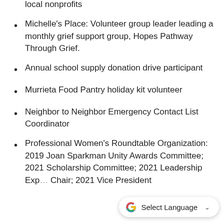Annual charity golf tournament with all proceeds donated back to our community and to dozens of local nonprofits
Michelle's Place: Volunteer group leader leading a monthly grief support group, Hopes Pathway Through Grief.
Annual school supply donation drive participant
Murrieta Food Pantry holiday kit volunteer
Neighbor to Neighbor Emergency Contact List Coordinator
Professional Women's Roundtable Organization: 2019 Joan Sparkman Unity Awards Committee; 2021 Scholarship Committee; 2021 Leadership Exp… Chair; 2021 Vice President